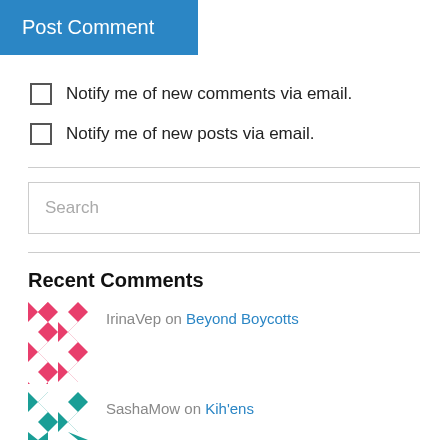Post Comment
Notify me of new comments via email.
Notify me of new posts via email.
Search
Recent Comments
[Figure (illustration): Pink geometric/quilt pattern avatar for IrinaVep]
IrinaVep on Beyond Boycotts
[Figure (illustration): Teal geometric/quilt pattern avatar for SashaMow (partially visible)]
SashaMow on Kih'ens